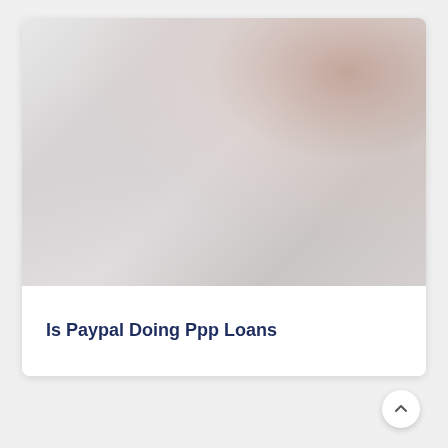[Figure (photo): Blurred abstract image with gradient colors — mostly silver/grey with a warm brownish-pink tint in the upper right corner.]
Is Paypal Doing Ppp Loans